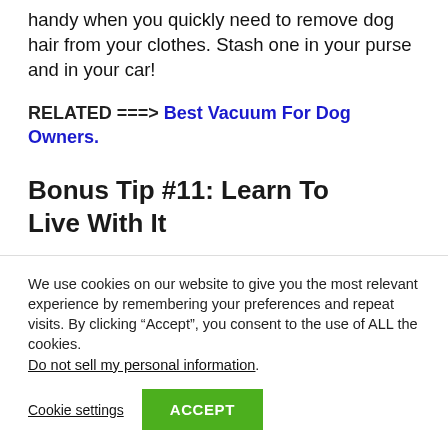handy when you quickly need to remove dog hair from your clothes. Stash one in your purse and in your car!
RELATED ===> Best Vacuum For Dog Owners.
Bonus Tip #11: Learn To Live With It
We use cookies on our website to give you the most relevant experience by remembering your preferences and repeat visits. By clicking “Accept”, you consent to the use of ALL the cookies. Do not sell my personal information.
Cookie settings  ACCEPT